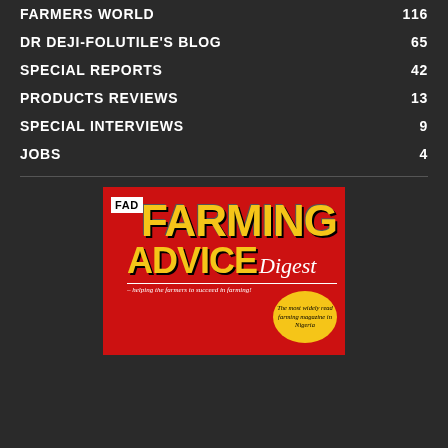FARMERS WORLD 116
DR DEJI-FOLUTILE'S BLOG 65
SPECIAL REPORTS 42
PRODUCTS REVIEWS 13
SPECIAL INTERVIEWS 9
JOBS 4
[Figure (logo): FAD Farming Advice Digest magazine logo on red background. Large yellow FARMING ADVICE text with italic Digest in white. Tagline: helping the farmers to succeed in farming! Yellow oval badge: The most widely read farming magazine in Nigeria.]